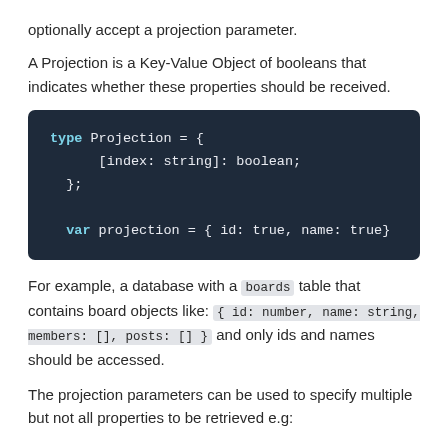optionally accept a projection parameter.
A Projection is a Key-Value Object of booleans that indicates whether these properties should be received.
type Projection = {
    [index: string]: boolean;
};

var projection = { id: true, name: true}
For example, a database with a boards table that contains board objects like: { id: number, name: string, members: [], posts: [] } and only ids and names should be accessed.
The projection parameters can be used to specify multiple but not all properties to be retrieved e.g: